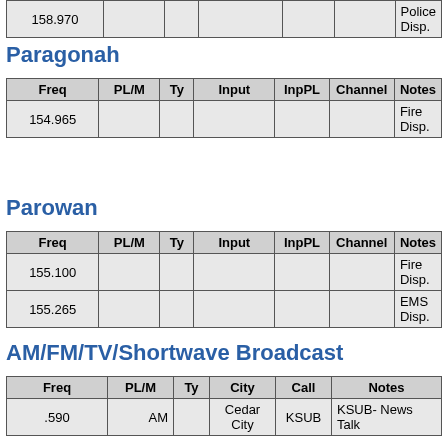| Freq | PL/M | Ty | Input | InpPL | Channel | Notes |
| --- | --- | --- | --- | --- | --- | --- |
| 158.970 |  |  |  |  |  | Police Disp. |
Paragonah
| Freq | PL/M | Ty | Input | InpPL | Channel | Notes |
| --- | --- | --- | --- | --- | --- | --- |
| 154.965 |  |  |  |  |  | Fire Disp. |
Parowan
| Freq | PL/M | Ty | Input | InpPL | Channel | Notes |
| --- | --- | --- | --- | --- | --- | --- |
| 155.100 |  |  |  |  |  | Fire Disp. |
| 155.265 |  |  |  |  |  | EMS Disp. |
AM/FM/TV/Shortwave Broadcast
| Freq | PL/M | Ty | City | Call | Notes |
| --- | --- | --- | --- | --- | --- |
| .590 | AM |  | Cedar City | KSUB | KSUB- News Talk |